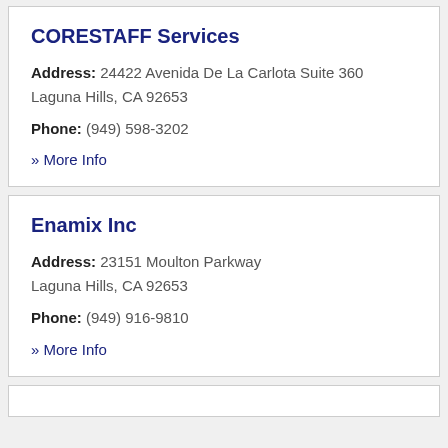CORESTAFF Services
Address: 24422 Avenida De La Carlota Suite 360
Laguna Hills, CA 92653
Phone: (949) 598-3202
» More Info
Enamix Inc
Address: 23151 Moulton Parkway
Laguna Hills, CA 92653
Phone: (949) 916-9810
» More Info